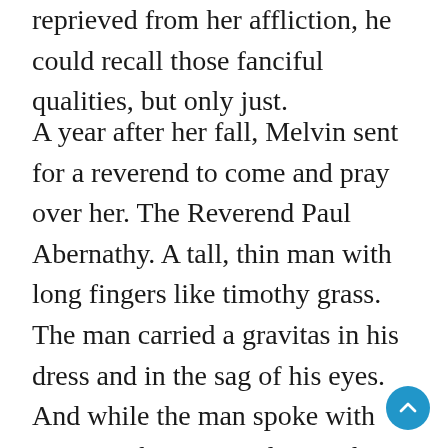reprieved from her affliction, he could recall those fanciful qualities, but only just.
A year after her fall, Melvin sent for a reverend to come and pray over her. The Reverend Paul Abernathy. A tall, thin man with long fingers like timothy grass. The man carried a gravitas in his dress and in the sag of his eyes. And while the man spoke with poetry in his tone and tenor, he seemed to speak a message of equal parts sorrow and hope. The good reverend prayed over Amel